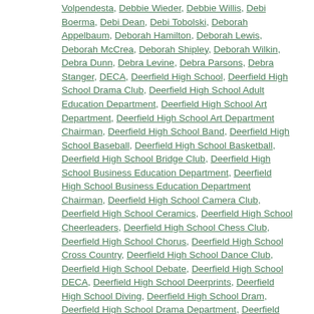Volpendesta, Debbie Wieder, Debbie Willis, Debi Boerma, Debi Dean, Debi Tobolski, Deborah Appelbaum, Deborah Hamilton, Deborah Lewis, Deborah McCrea, Deborah Shipley, Deborah Wilkin, Debra Dunn, Debra Levine, Debra Parsons, Debra Stanger, DECA, Deerfield High School, Deerfield High School Drama Club, Deerfield High School Adult Education Department, Deerfield High School Art Department, Deerfield High School Art Department Chairman, Deerfield High School Band, Deerfield High School Baseball, Deerfield High School Basketball, Deerfield High School Bridge Club, Deerfield High School Business Education Department, Deerfield High School Business Education Department Chairman, Deerfield High School Camera Club, Deerfield High School Ceramics, Deerfield High School Cheerleaders, Deerfield High School Chess Club, Deerfield High School Chorus, Deerfield High School Cross Country, Deerfield High School Dance Club, Deerfield High School Debate, Deerfield High School DECA, Deerfield High School Deerprints, Deerfield High School Diving, Deerfield High School Dram, Deerfield High School Drama Department, Deerfield High School English Department,